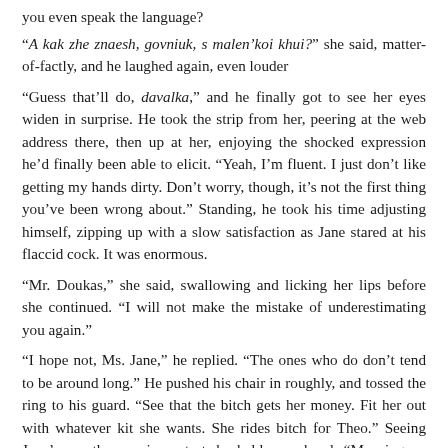you even speak the language?
“A kak zhe znaesh, govniuk, s malen'koi khui?” she said, matter-of-factly, and he laughed again, even louder
“Guess that’ll do, davalka,” and he finally got to see her eyes widen in surprise. He took the strip from her, peering at the web address there, then up at her, enjoying the shocked expression he’d finally been able to elicit. “Yeah, I’m fluent. I just don’t like getting my hands dirty. Don’t worry, though, it’s not the first thing you’ve been wrong about.” Standing, he took his time adjusting himself, zipping up with a slow satisfaction as Jane stared at his flaccid cock. It was enormous.
“Mr. Doukas,” she said, swallowing and licking her lips before she continued. “I will not make the mistake of underestimating you again.”
“I hope not, Ms. Jane,” he replied. “The ones who do don’t tend to be around long.” He pushed his chair in roughly, and tossed the ring to his guard. “See that the bitch gets her money. Fit her out with whatever kit she wants. She rides bitch for Theo.” Seeing Jane’s mouth open in protest, he held up a hand. “Meaning no disrespect to that – ” his lip curled “-fine piece of Japanese engineering